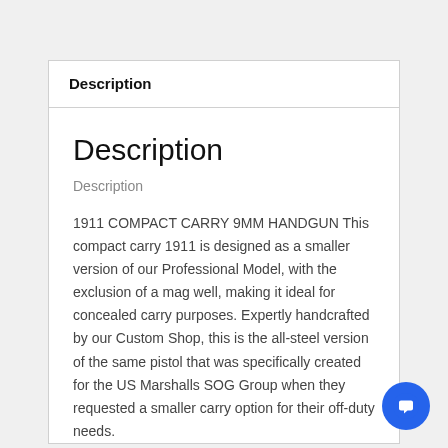Description
Description
Description
1911 COMPACT CARRY 9MM HANDGUN This compact carry 1911 is designed as a smaller version of our Professional Model, with the exclusion of a mag well, making it ideal for concealed carry purposes. Expertly handcrafted by our Custom Shop, this is the all-steel version of the same pistol that was specifically created for the US Marshalls SOG Group when they requested a smaller carry option for their off-duty needs.